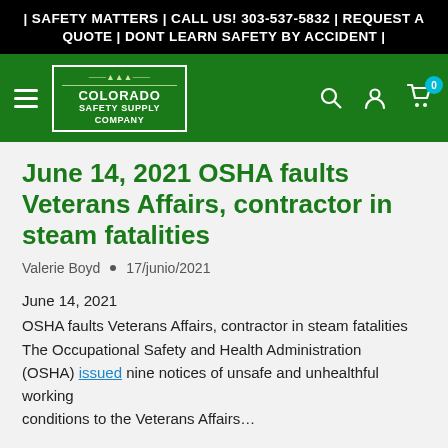| SAFETY MATTERS | CALL US! 303-537-5832 | REQUEST A QUOTE | DONT LEARN SAFETY BY ACCIDENT |
[Figure (logo): Colorado Safety Supply Company green navigation bar with hamburger menu, logo, search, account, and cart icons]
June 14, 2021 OSHA faults Veterans Affairs, contractor in steam fatalities
Valerie Boyd  •  17/junio/2021
June 14, 2021
OSHA faults Veterans Affairs, contractor in steam fatalities
The Occupational Safety and Health Administration (OSHA) issued nine notices of unsafe and unhealthful working conditions to the Veterans Affairs…